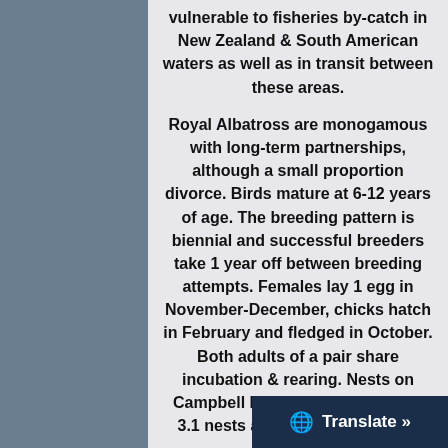vulnerable to fisheries by-catch in New Zealand & South American waters as well as in transit between these areas.
Royal Albatross are monogamous with long-term partnerships, although a small proportion divorce. Birds mature at 6-12 years of age. The breeding pattern is biennial and successful breeders take 1 year off between breeding attempts. Females lay 1 egg in November-December, chicks hatch in February and fledged in October. Both adults of a pair share incubation & rearing. Nests on Campbell Island are dispersed at 3.1 nests although occasionally they are